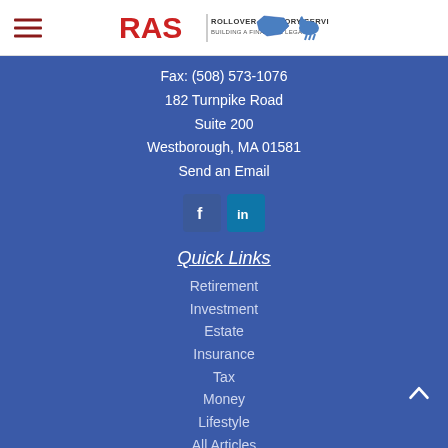[Figure (logo): RAS Rollover Advisory Services logo with Massachusetts state outline and small icon]
Fax: (508) 573-1076
182 Turnpike Road
Suite 200
Westborough, MA 01581
Send an Email
[Figure (other): Social media icons: Facebook (f) and LinkedIn (in)]
Quick Links
Retirement
Investment
Estate
Insurance
Tax
Money
Lifestyle
All Articles
All Videos
All Calculators